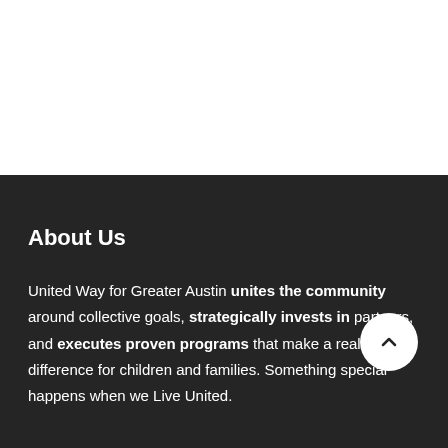[Figure (other): White top section background]
About Us
United Way for Greater Austin unites the community around collective goals, strategically invests in partners, and executes proven programs that make a real difference for children and families. Something special happens when we Live United.